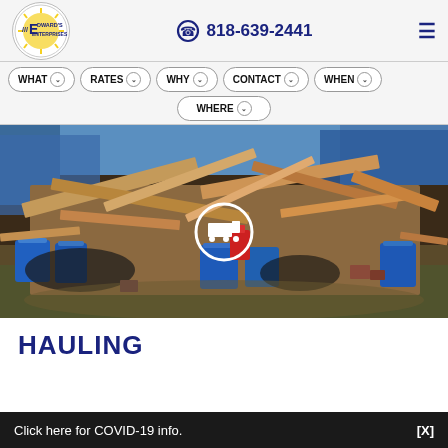[Figure (logo): Edward's Enterprises company logo: circular badge with stylized E and sun rays, text reads Edwards Enterprises]
818-639-2441
[Figure (photo): A large pile of construction debris including lumber scraps, wood panels, blue buckets/barrels, black trash bags, and other demolition waste on grassy ground. A white circle with a truck icon is overlaid in the center.]
HAULING
Click here for COVID-19 info.
[X]